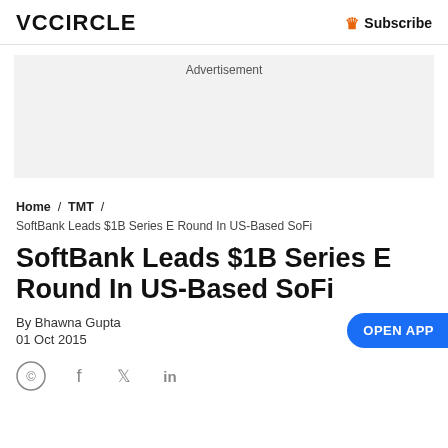VCCiRCLE   Subscribe
[Figure (other): Advertisement placeholder box]
Home / TMT / SoftBank Leads $1B Series E Round In US-Based SoFi
SoftBank Leads $1B Series E Round In US-Based SoFi
By Bhawna Gupta
01 Oct 2015
[Figure (other): Social share icons: WhatsApp, Facebook, Twitter, LinkedIn]